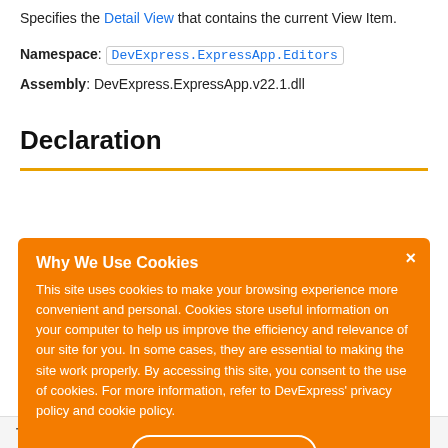Specifies the Detail View that contains the current View Item.
Namespace: DevExpress.ExpressApp.Editors
Assembly: DevExpress.ExpressApp.v22.1.dll
Declaration
[Figure (screenshot): Cookie consent banner overlay with orange background. Title: 'Why We Use Cookies'. Body text about cookie usage policy. 'I UNDERSTAND' button and close (×) button.]
| Type | Description |
| --- | --- |